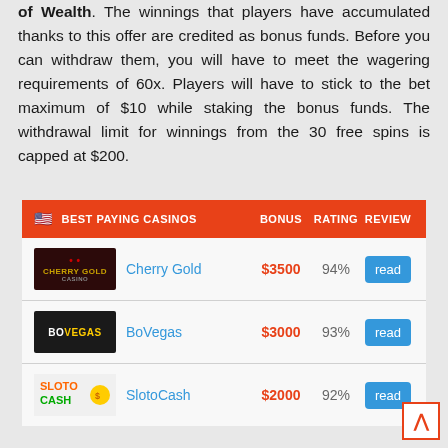of Wealth. The winnings that players have accumulated thanks to this offer are credited as bonus funds. Before you can withdraw them, you will have to meet the wagering requirements of 60x. Players will have to stick to the bet maximum of $10 while staking the bonus funds. The withdrawal limit for winnings from the 30 free spins is capped at $200.
| BEST PAYING CASINOS | BONUS | RATING | REVIEW |
| --- | --- | --- | --- |
| Cherry Gold | $3500 | 94% | read |
| BoVegas | $3000 | 93% | read |
| SlotoCash | $2000 | 92% | read |